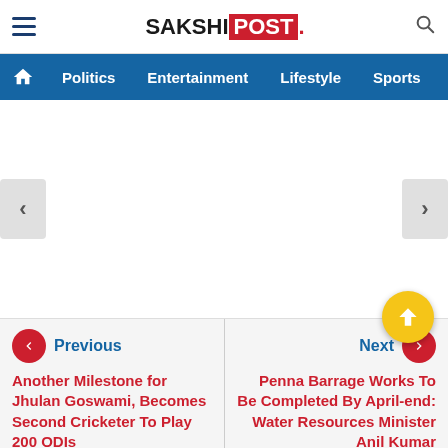SAKSHI POST
Politics  Entertainment  Lifestyle  Sports  Vide
[Figure (other): White blank slider/carousel area with left and right navigation arrows]
Previous
Another Milestone for Jhulan Goswami, Becomes Second Cricketer To Play 200 ODIs
Next
Penna Barrage Works To Be Completed By April-end: Water Resources Minister Anil Kumar